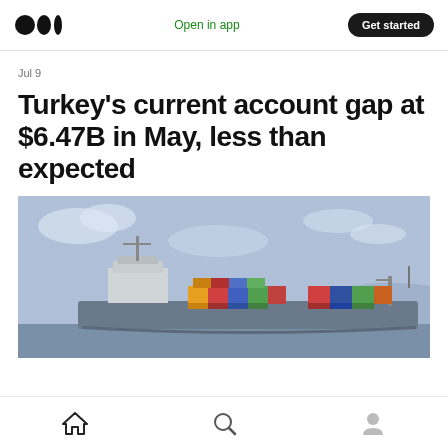Medium logo | Open in app | Get started
Jul 9
Turkey's current account gap at $6.47B in May, less than expected
[Figure (photo): A cargo container ship at sea carrying stacked shipping containers of various colors, with a pale blue sky in the background and mountains visible on the horizon.]
Home | Search | Profile